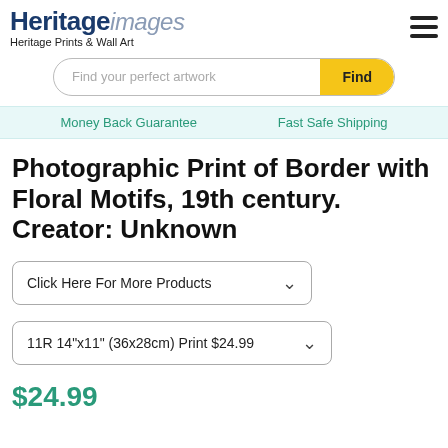Heritage images — Heritage Prints & Wall Art
Find your perfect artwork
Money Back Guarantee    Fast Safe Shipping
Photographic Print of Border with Floral Motifs, 19th century. Creator: Unknown
Click Here For More Products
11R 14"x11" (36x28cm) Print $24.99
$24.99